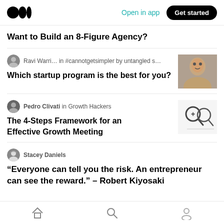Medium app header with logo, Open in app, Get started
Want to Build an 8-Figure Agency?
Ravi Warri… in #cannotgetsimpler by untangled s…
Which startup program is the best for you?
[Figure (photo): Thumbnail photo of a man]
Pedro Clivati in Growth Hackers
The 4-Steps Framework for an Effective Growth Meeting
[Figure (illustration): Magnifying glass icons]
Stacey Daniels
“Everyone can tell you the risk. An entrepreneur can see the reward.” – Robert Kiyosaki
Bottom navigation: Home, Search, Profile